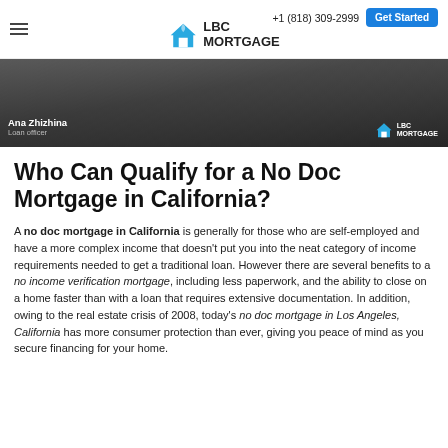+1 (818) 309-2999  Get Started  LBC MORTGAGE
[Figure (screenshot): Video thumbnail showing Ana Zhizhina, Loan Officer, with LBC Mortgage logo overlay on a dark background]
Who Can Qualify for a No Doc Mortgage in California?
A no doc mortgage in California is generally for those who are self-employed and have a more complex income that doesn't put you into the neat category of income requirements needed to get a traditional loan. However there are several benefits to a no income verification mortgage, including less paperwork, and the ability to close on a home faster than with a loan that requires extensive documentation. In addition, owing to the real estate crisis of 2008, today's no doc mortgage in Los Angeles, California has more consumer protection than ever, giving you peace of mind as you secure financing for your home.